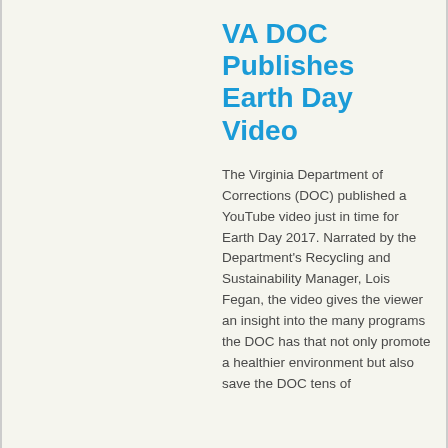VA DOC Publishes Earth Day Video
The Virginia Department of Corrections (DOC) published a YouTube video just in time for Earth Day 2017. Narrated by the Department's Recycling and Sustainability Manager, Lois Fegan, the video gives the viewer an insight into the many programs the DOC has that not only promote a healthier environment but also save the DOC tens of